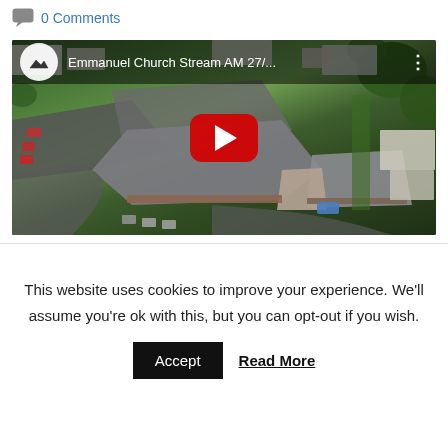0 Comments
[Figure (screenshot): YouTube video thumbnail showing aerial drone view of Emmanuel Church building complex with rooftop visible, surrounded by trees, roads and parked cars. Video title reads 'Emmanuel Church Stream AM 27/...' with YouTube play button overlay.]
This website uses cookies to improve your experience. We'll assume you're ok with this, but you can opt-out if you wish.
Accept
Read More